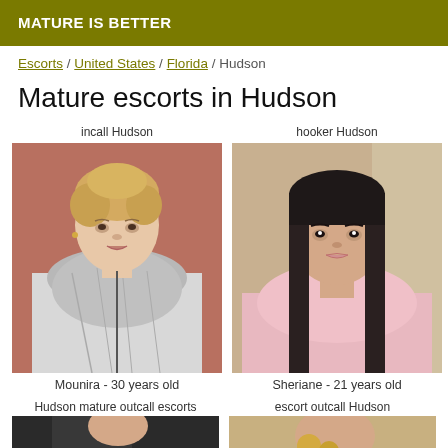MATURE IS BETTER
Escorts / United States / Florida / Hudson
Mature escorts in Hudson
incall Hudson
[Figure (photo): Photo of Mounira, a blonde woman in a patterned jacket against a red background]
Mounira - 30 years old
hooker Hudson
[Figure (photo): Photo of Sheriane, a dark-haired young woman taking a selfie]
Sheriane - 21 years old
Hudson mature outcall escorts
escort outcall Hudson
[Figure (photo): Partial photo of a woman in dark clothing]
[Figure (photo): Partial photo of a woman with jewelry]